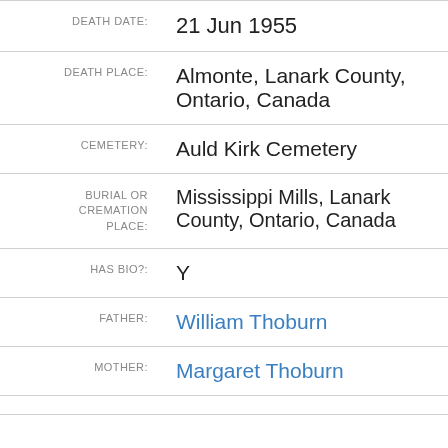| Field | Value |
| --- | --- |
| DEATH DATE: | 21 Jun 1955 |
| DEATH PLACE: | Almonte, Lanark County, Ontario, Canada |
| CEMETERY: | Auld Kirk Cemetery |
| BURIAL OR CREMATION PLACE: | Mississippi Mills, Lanark County, Ontario, Canada |
| HAS BIO?: | Y |
| FATHER: | William Thoburn |
| MOTHER: | Margaret Thoburn |